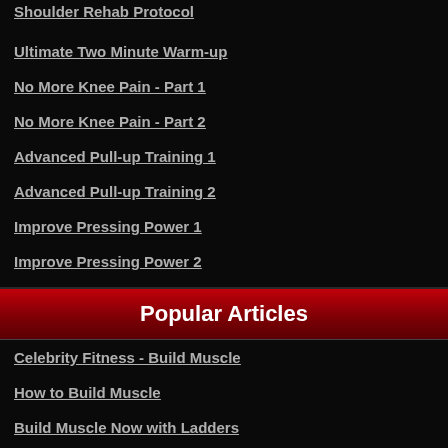Shoulder Rehab Protocol
Ultimate Two Minute Warm-up
No More Knee Pain - Part 1
No More Knee Pain - Part 2
Advanced Pull-up Training 1
Advanced Pull-up Training 2
Improve Pressing Power 1
Improve Pressing Power 2
Popular Articles
Celebrity Fitness - Build Muscle
How to Build Muscle
Build Muscle Now with Ladders
19 Tips for Fixing Your Squat
Fix Your Squat - Part 2